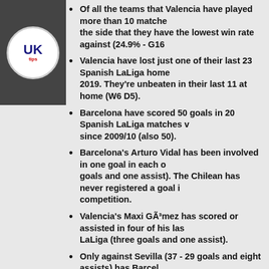Of all the teams that Valencia have played more than 10 matches, the side that they have the lowest win rate against (24.9% - G169)
Valencia have lost just one of their last 23 Spanish LaLiga home 2019. They're unbeaten in their last 11 at home (W6 D5).
Barcelona have scored 50 goals in 20 Spanish LaLiga matches since 2009/10 (also 50).
Barcelona's Arturo Vidal has been involved in one goal in each goals and one assist). The Chilean has never registered a goal i competition.
Valencia's Maxi Gómez has scored or assisted in four of his las LaLiga (three goals and one assist).
Only against Sevilla (37 - 29 goals and eight assists) has Barcel LaLiga goals than against Valencia (34 - 24 goals and 10 assists).
Barcelona manager Quique Setién is winless in his last six ma four of them in Spanish LaLiga and two in Copa del Rey.
Unibet (Get a Freebet with Unibet and bet on the bigges
We propose the best betting tip for the game Valencia vs Barcelona, v on 25.01.2020 15:00. Take a look at the best odds of SPAIN: LaLiga offe Comment our best tips in order for other bettors to see your tips and pre (soccer).